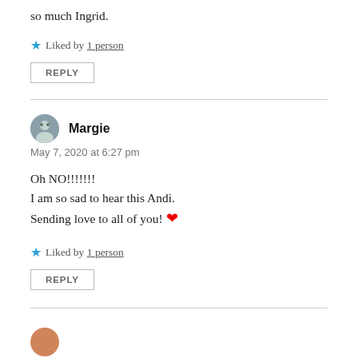so much Ingrid.
★ Liked by 1 person
REPLY
Margie
May 7, 2020 at 6:27 pm
Oh NO!!!!!!!
I am so sad to hear this Andi.
Sending love to all of you! ❤
★ Liked by 1 person
REPLY